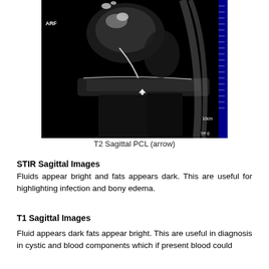[Figure (photo): MRI T2 Sagittal image of the knee showing the PCL (posterior cruciate ligament) indicated by an arrow. The image is grayscale, showing knee joint structures including femoral condyles and tibial plateau. Label 'ARF' visible in upper left, scale marker '10cm' in lower right, and 'TP 0' at bottom right. A blue/dark calibration strip visible on the right edge.]
T2 Sagittal PCL (arrow)
STIR Sagittal Images
Fluids appear bright and fats appears dark. This are useful for highlighting infection and bony edema.
T1 Sagittal Images
Fluid appears dark fats appear bright. This are useful in diagnosis in cystic and blood components which if present blood could